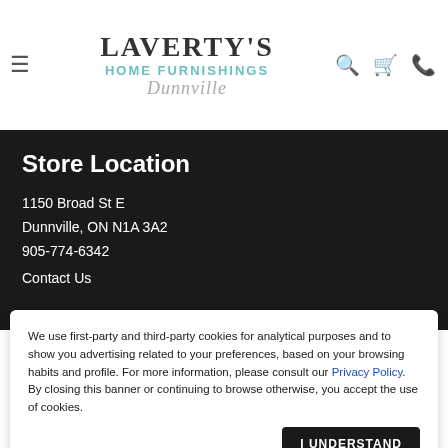[Figure (logo): Laverty's Home Furnishings Dunnville logo with hamburger menu icon and search, cart, phone icons]
Store Location
1150 Broad St E
Dunnville, ON N1A 3A2
905-774-6342
Contact Us
We use first-party and third-party cookies for analytical purposes and to show you advertising related to your preferences, based on your browsing habits and profile. For more information, please consult our Privacy Policy. By closing this banner or continuing to browse otherwise, you accept the use of cookies.
I UNDERSTAND